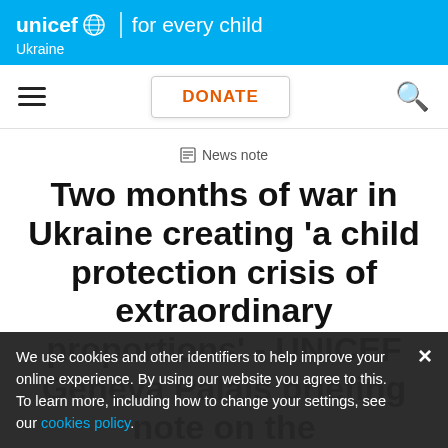unicef for every child | Ukraine
[Figure (screenshot): UNICEF website navigation bar with hamburger menu, DONATE button, and search icon]
News note
Two months of war in Ukraine creating 'a child protection crisis of extraordinary proportions' - UNICEF Geneva Palais briefing note on the
We use cookies and other identifiers to help improve your online experience. By using our website you agree to this. To learn more, including how to change your settings, see our cookies policy.